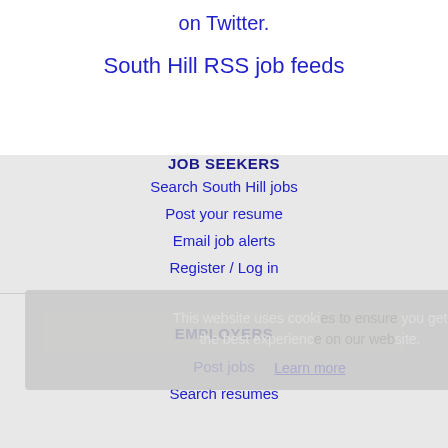on Twitter.
South Hill RSS job feeds
JOB SEEKERS
Search South Hill jobs
Post your resume
Email job alerts
Register / Log in
This website uses cookies to ensure you get the best experience on our website.
Learn more
EMPLOYERS
Post jobs
Search resumes